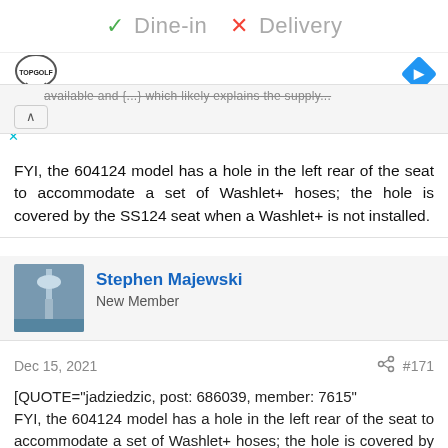[Figure (screenshot): Ad bar showing Dine-in checkmark and Delivery X, Topgolf logo, navigation diamond icon]
...available and {...} which likely explains the supply...
FYI, the 604124 model has a hole in the left rear of the seat to accommodate a set of Washlet+ hoses; the hole is covered by the SS124 seat when a Washlet+ is not installed.
Stephen Majewski
New Member
Dec 15, 2021   #171
[QUOTE="jadziedzic, post: 686039, member: 7615"
FYI, the 604124 model has a hole in the left rear of the seat to accommodate a set of Washlet+ hoses; the hole is covered by the SS124 seat when a Washlet+ is not installed.[/QUOTE]